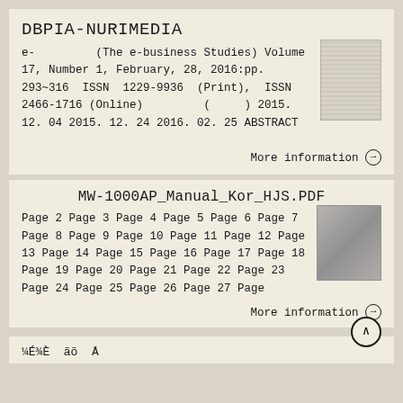DBPIA-NURIMEDIA
e- (The e-business Studies) Volume 17, Number 1, February, 28, 2016:pp. 293~316 ISSN 1229-9936 (Print), ISSN 2466-1716 (Online) ( ) 2015. 12. 04 2015. 12. 24 2016. 02. 25 ABSTRACT
More information →
MW-1000AP_Manual_Kor_HJS.PDF
Page 2 Page 3 Page 4 Page 5 Page 6 Page 7 Page 8 Page 9 Page 10 Page 11 Page 12 Page 13 Page 14 Page 15 Page 16 Page 17 Page 18 Page 19 Page 20 Page 21 Page 22 Page 23 Page 24 Page 25 Page 26 Page 27 Page
More information →
¼É¾È ãõ Å